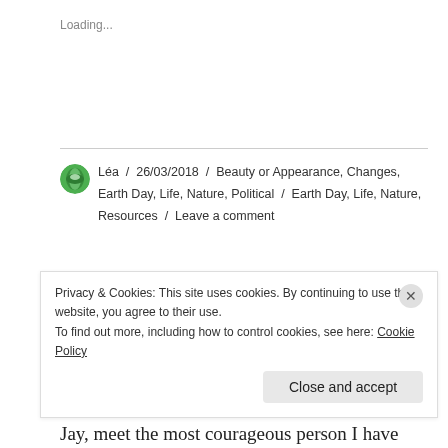Loading...
Léa / 26/03/2018 / Beauty or Appearance, Changes, Earth Day, Life, Nature, Political / Earth Day, Life, Nature, Resources / Leave a comment
Endings, beginnings ...
For those of you who have not yet met Carly Jay, meet the most courageous person I have ever known.
Privacy & Cookies: This site uses cookies. By continuing to use this website, you agree to their use.
To find out more, including how to control cookies, see here: Cookie Policy